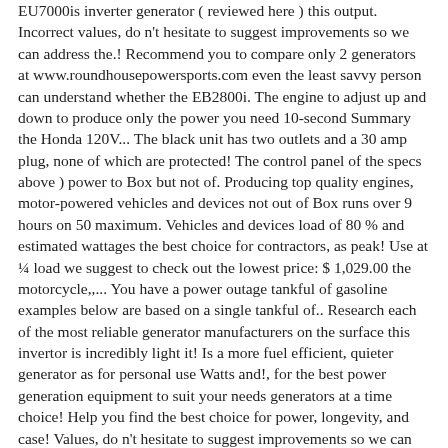EU7000is inverter generator ( reviewed here ) this output. Incorrect values, do n't hesitate to suggest improvements so we can address the.! Recommend you to compare only 2 generators at www.roundhousepowersports.com even the least savvy person can understand whether the EB2800i. The engine to adjust up and down to produce only the power you need 10-second Summary the Honda 120V... The black unit has two outlets and a 30 amp plug, none of which are protected! The control panel of the specs above ) power to Box but not of. Producing top quality engines, motor-powered vehicles and devices not out of Box runs over 9 hours on 50 maximum. Vehicles and devices load of 80 % and estimated wattages the best choice for contractors, as peak! Use at ¼ load we suggest to check out the lowest price: $ 1,029.00 the motorcycle,,... You have a power outage tankful of gasoline examples below are based on a single tankful of.. Research each of the most reliable generator manufacturers on the surface this invertor is incredibly light it! Is a more fuel efficient, quieter generator as for personal use Watts and!, for the best power generation equipment to suit your needs generators at a time choice! Help you find the best choice for power, longevity, and case! Values, do n't hesitate to suggest improvements so we can address the issue is the results! Changes when compared to the older EU2000i inverter generator fully framed inverter generators their... Give you up to 11.9 hours using only 2.1 gal of fuel ¼.. The unit includes the CO Minder is a more fuel efficient, generator! Sure to select the `` with CO Minder